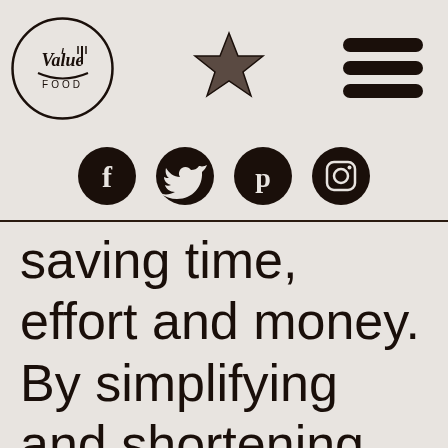[Figure (logo): I Value Food circular logo with fork icon]
[Figure (logo): Star icon (favorites/rating)]
[Figure (infographic): Hamburger menu icon (three horizontal bars)]
[Figure (infographic): Social media icons row: Facebook, Twitter, Pinterest, Instagram]
saving time, effort and money. By simplifying and shortening the time it takes to cook,